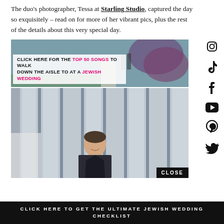The duo's photographer, Tessa at Starling Studio, captured the day so exquisitely – read on for more of her vibrant pics, plus the rest of the details about this very special day.
[Figure (photo): Banner advertisement: 'Click here for the Top 50 Songs to Walk Down the Aisle to at a Jewish Wedding' overlaid on a wedding ceremony photo with floral arch and guests.]
[Figure (photo): Photo of a smiling groom in a dark suit standing in front of vertical architectural panels. A 'CLOSE' button appears in the bottom right corner.]
CLICK HERE TO GET THE ULTIMATE JEWISH WEDDING CHECKLIST